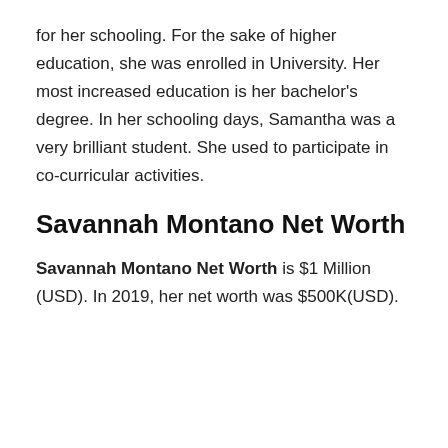for her schooling. For the sake of higher education, she was enrolled in University. Her most increased education is her bachelor's degree. In her schooling days, Samantha was a very brilliant student. She used to participate in co-curricular activities.
Savannah Montano Net Worth
Savannah Montano Net Worth is $1 Million (USD). In 2019, her net worth was $500K(USD).